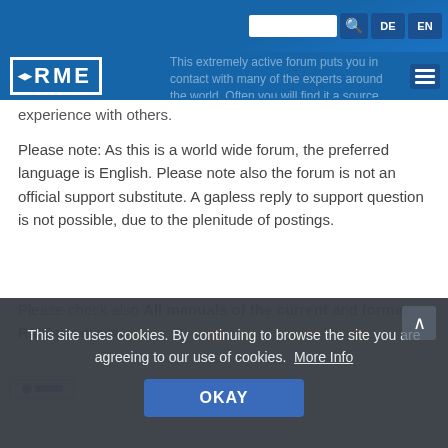RME — header navigation bar with logo, search, DE, EN language buttons and menu
experience with others.
Please note: As this is a world wide forum, the preferred language is English. Please note also the forum is not an official support substitute. A gapless reply to support question is not possible, due to the plenitude of postings.
Please check also All manuals of the current and former RME products.
[Figure (screenshot): Partial product image strip at bottom of page]
This site uses cookies. By continuing to browse the site you are agreeing to our use of cookies. More Info OKAY